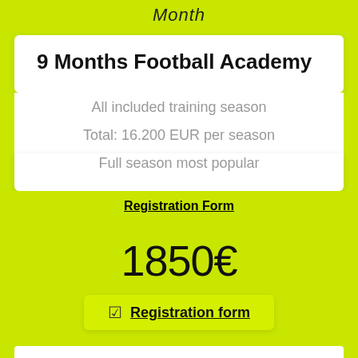Month
9 Months Football Academy
All included training season
Total: 16.200 EUR per season
Full season most popular
Registration Form
1850€
Registration form